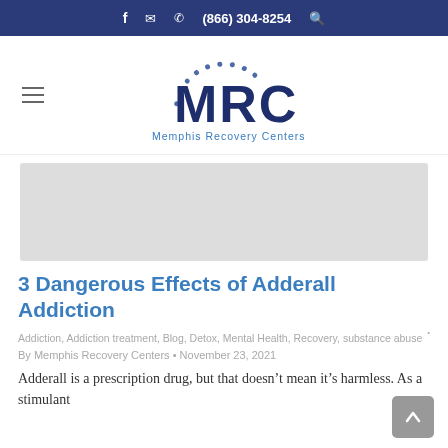f  ✉  ☎ (866) 304-8254  🔍
[Figure (logo): MRC Memphis Recovery Centers logo with dotted arc above letters MRC in dark navy blue, subtitle Memphis Recovery Centers in blue]
[Figure (photo): Gray hero image placeholder area]
3 Dangerous Effects of Adderall Addiction
Addiction, Addiction treatment, Blog, Detox, Mental Health, Recovery, substance abuse
By Memphis Recovery Centers • November 23, 2021
Adderall is a prescription drug, but that doesn't mean it's harmless. As a stimulant